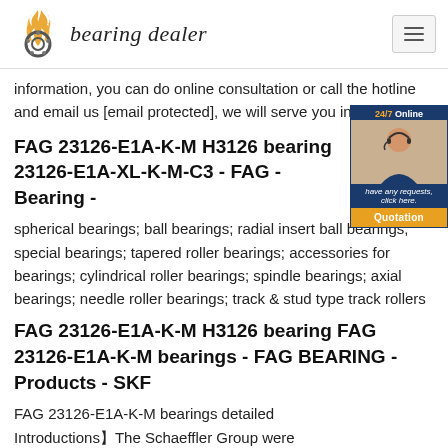bearing dealer
information, you can do online consultation or call the hotline and email us [email protected], we will serve you in detail.
FAG 23126-E1A-K-M H3126 bearing 23126-E1A-XL-K-M-C3 - FAG - Bearing -
spherical bearings; ball bearings; radial insert ball bearings; special bearings; tapered roller bearings; accessories for bearings; cylindrical roller bearings; spindle bearings; axial bearings; needle roller bearings; track & stud type track rollers
FAG 23126-E1A-K-M H3126 bearing FAG 23126-E1A-K-M bearings - FAG BEARING - Products - SKF
FAG 23126-E1A-K-M bearings detailed Introductions】The Schaeffler Group were incorporated to fulfill all your demands regarding FAG 23126-E1A-K-M Spherical roller bearings. We are the world's second